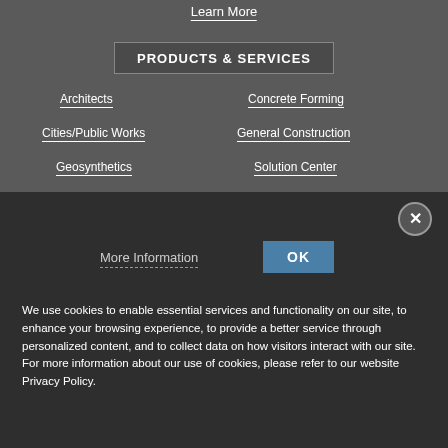Learn More
PRODUCTS & SERVICES
Architects
Concrete Forming
Cities/Public Works
General Construction
Geosynthetics
Solution Center
More Information
OK
We use cookies to enable essential services and functionality on our site, to enhance your browsing experience, to provide a better service through personalized content, and to collect data on how visitors interact with our site. For more information about our use of cookies, please refer to our website Privacy Policy.